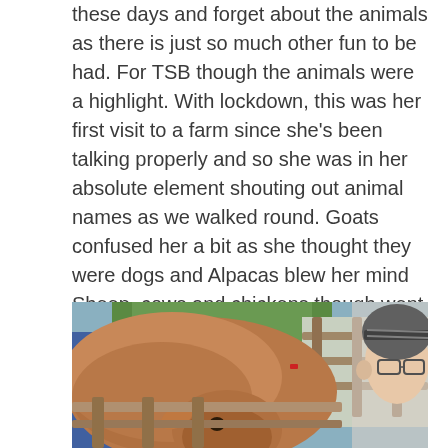these days and forget about the animals as there is just so much other fun to be had. For TSB though the animals were a highlight. With lockdown, this was her first visit to a farm since she's been talking properly and so she was in her absolute element shouting out animal names as we walked round. Goats confused her a bit as she thought they were dogs and Alpacas blew her mind Sheep, cows and chickens though went down an absolute storm with her.
[Figure (photo): A brown goat leaning over a wooden fence at a farm, with a woman wearing a patterned headband and glasses visible on the right side of the image. Green trees and wooden fencing visible in the background.]